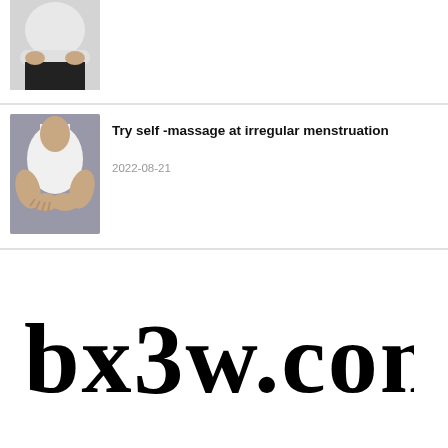[Figure (photo): Partial photo of a person in a white top and black pants holding their abdomen area, cropped to show torso only]
[Figure (photo): Person in a white tank top holding their abdomen with both hands, suggesting menstrual pain or discomfort]
Try self -massage at irregular menstruation
2022-08-21
[Figure (logo): bxzw.com website logo in blackletter/gothic font style]